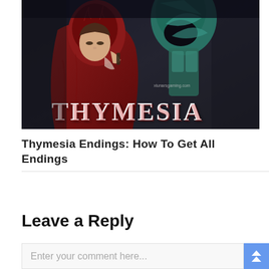[Figure (photo): Thymesia video game promotional image showing two characters — one in a red hooded cloak and one in a teal/green armored cloak — with the game title 'THYMESIA' displayed prominently at the bottom. Watermark reads xlunarsgaming.com.]
Thymesia Endings: How To Get All Endings
Leave a Reply
Enter your comment here...